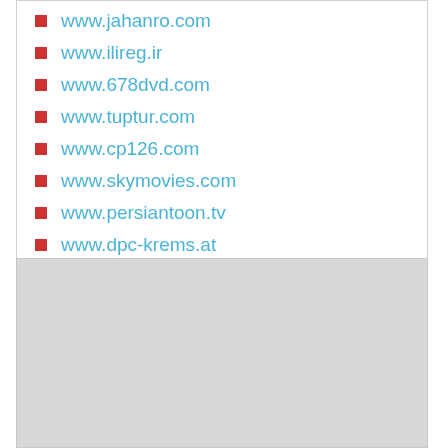www.jahanro.com
www.ilireg.ir
www.678dvd.com
www.tuptur.com
www.cp126.com
www.skymovies.com
www.persiantoon.tv
www.dpc-krems.at
www.dpc-nederland.nl
[Figure (other): Gray placeholder box]